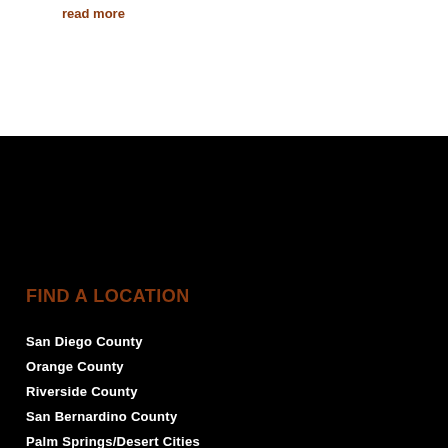read more
FIND A LOCATION
San Diego County
Orange County
Riverside County
San Bernardino County
Palm Springs/Desert Cities
Los Angeles County
© 2022 Lloyd Pest Control. All Rights Reserved.
Privacy Policy